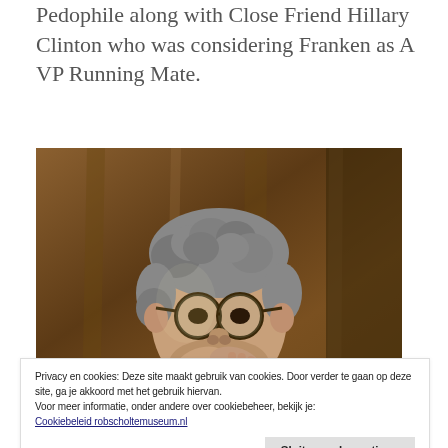Pedophile along with Close Friend Hillary Clinton who was considering Franken as A VP Running Mate.
[Figure (photo): Photo of a man with grey curly hair and glasses, hands clasped together near his face in a prayer-like gesture, wearing a dark suit, against a brown wooden background.]
Privacy en cookies: Deze site maakt gebruik van cookies. Door verder te gaan op deze site, ga je akkoord met het gebruik hiervan.
Voor meer informatie, onder andere over cookiebeheer, bekijk je:
Cookiebeleid robscholtemuseum.nl
Sluiten en bevestigen
ARRESTED, WAITING TRIBUNAL